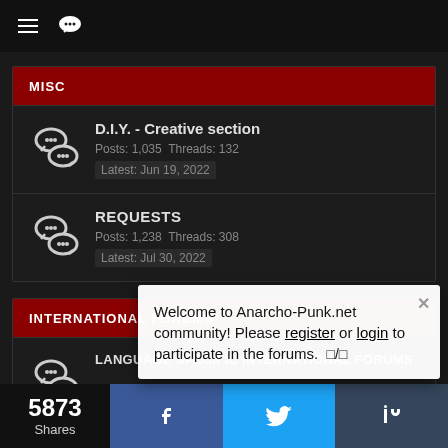Navigation bar with hamburger menu and chat icon
MISC
D.I.Y. - Creative section
Posts: 1,035  Threads: 132
Latest: Jun 19, 2022
REQUESTS
Posts: 1,238  Threads: 308
Latest: Jul 30, 2022
INTERNATIONAL FORUMS
LANGUAGE SPECIFIC INTERNATIONAL FORUMS
Posts: ...
Latest: ...
Welcome to Anarcho-Punk.net community! Please register or login to participate in the forums. □/□
5873 Shares